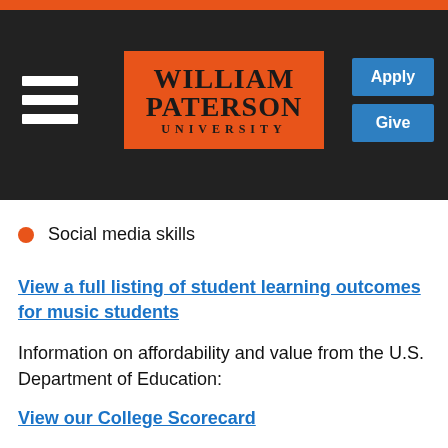[Figure (logo): William Paterson University header with orange logo, hamburger menu, and Apply/Give buttons]
Social media skills
View a full listing of student learning outcomes for music students
Information on affordability and value from the U.S. Department of Education:
View our College Scorecard
Key Skills for Careers